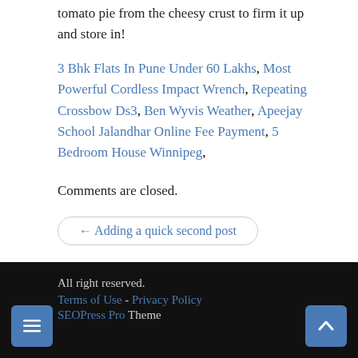tomato pie from the cheesy crust to firm it up and store in!
3 Bhk Flats In Pune Under 60 Lakhs, Most Powerful Cordless Impact Wrench, Repeating Crossbow Ds3, Ben Wyvis Weather, Apeejay School Jalandhar Online Fee Payment, 5 Bedroom House Winnipeg,
Comments are closed.
← Adding a quick second post
All right reserved.
Terms of Use - Privacy Policy
SEOPress Pro Theme